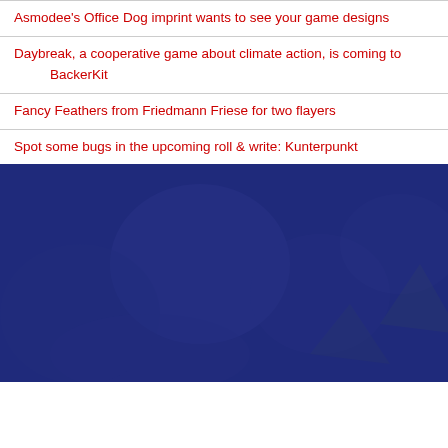Asmodee's Office Dog imprint wants to see your game designs
Daybreak, a cooperative game about climate action, is coming to BackerKit
Fancy Feathers from Friedmann Friese for two flayers
Spot some bugs in the upcoming roll & write: Kunterpunkt
[Figure (photo): Blue-tinted photograph of people playing board games at a table, heavily overlaid with a dark blue semi-transparent color wash]